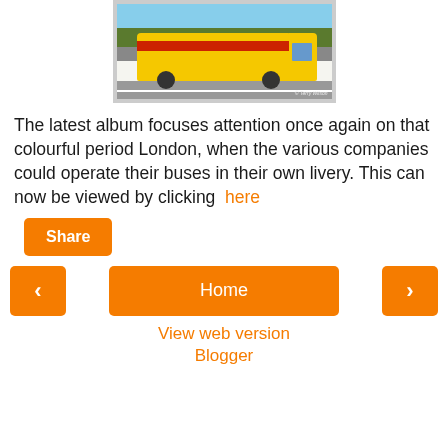[Figure (photo): Yellow bus on a road with green hedgerow background, photo credited to Terry Wilson]
The latest album focuses attention once again on that colourful period London, when the various companies could operate their buses in their own livery. This can now be viewed by clicking here
Share
Home
View web version
Blogger